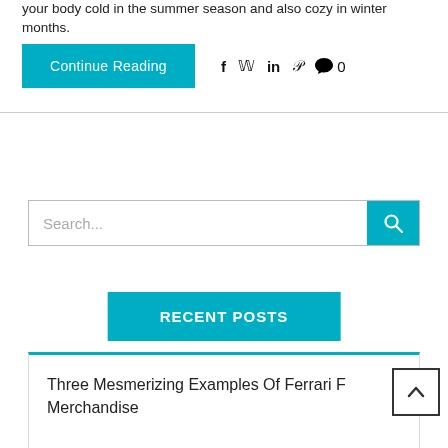your body cold in the summer season and also cozy in winter months.
Continue Reading  f  y  in  P  💬 0
Search...
RECENT POSTS
Three Mesmerizing Examples Of Ferrari F Merchandise